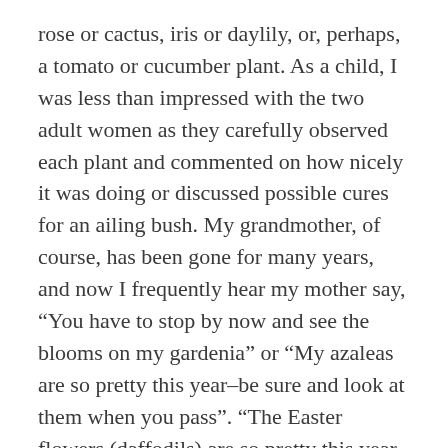rose or cactus, iris or daylily, or, perhaps, a tomato or cucumber plant. As a child, I was less than impressed with the two adult women as they carefully observed each plant and commented on how nicely it was doing or discussed possible cures for an ailing bush. My grandmother, of course, has been gone for many years, and now I frequently hear my mother say, “You have to stop by now and see the blooms on my gardenia” or “My azaleas are so pretty this year–be sure and look at them when you pass”. “The Easter flowers (daffodils) are so pretty this year and I have so many kinds,” she would say as she delivered an arrangement of the same to grace the dining table at our home. And, on my daily stops I ooh and ah over each new bloom, just as I heard her doing so many years ago.
And, surprise of all surprises, there was I yesterday